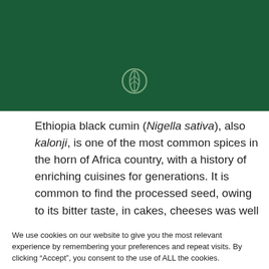[Figure (logo): Green header banner with a wheat/leaf circular icon in white outline centered near the bottom of the banner]
Ethiopia black cumin (Nigella sativa), also kalonji, is one of the most common spices in the horn of Africa country, with a history of enriching cuisines for generations. It is common to find the processed seed, owing to its bitter taste, in cakes, cheeses was well as chocolate products and even vegetable
We use cookies on our website to give you the most relevant experience by remembering your preferences and repeat visits. By clicking “Accept”, you consent to the use of ALL the cookies.
Do not sell my personal information.
Cookie Settings   Accept